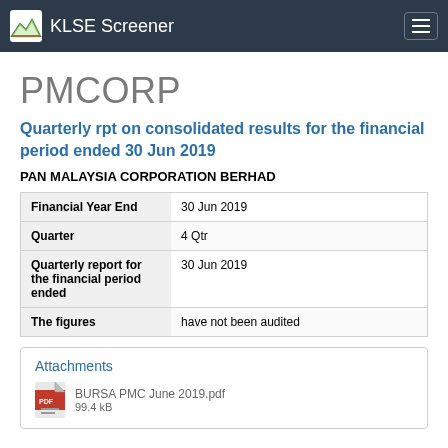KLSE Screener
PMCORP
Quarterly rpt on consolidated results for the financial period ended 30 Jun 2019
PAN MALAYSIA CORPORATION BERHAD
| Financial Year End | 30 Jun 2019 |
| Quarter | 4 Qtr |
| Quarterly report for the financial period ended | 30 Jun 2019 |
| The figures | have not been audited |
Attachments
BURSA PMC June 2019.pdf
99.4 kB